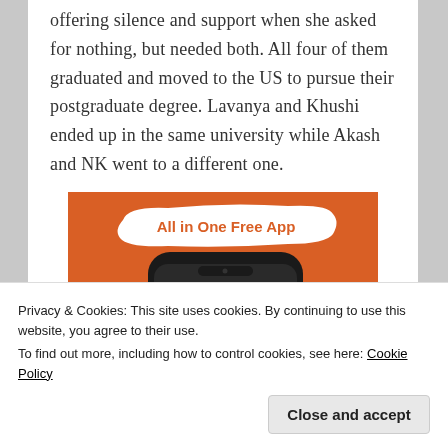offering silence and support when she asked for nothing, but needed both. All four of them graduated and moved to the US to pursue their postgraduate degree. Lavanya and Khushi ended up in the same university while Akash and NK went to a different one.
[Figure (illustration): Advertisement banner showing a smartphone with DuckDuckGo duck logo on an orange background, with text 'All in One Free App' in a white brushstroke banner.]
Privacy & Cookies: This site uses cookies. By continuing to use this website, you agree to their use.
To find out more, including how to control cookies, see here: Cookie Policy
Close and accept